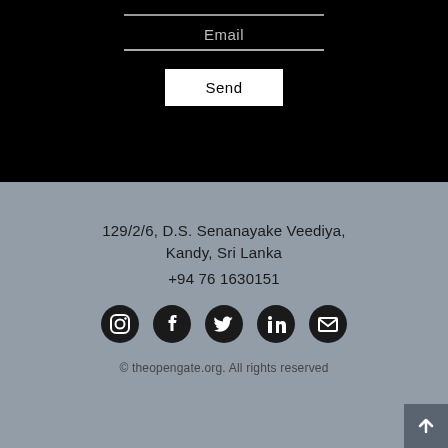[Figure (screenshot): Black section with an email input field (underlined), email label, second underline, and a white Send button]
129/2/6, D.S. Senanayake Veediya, Kandy, Sri Lanka
+94 76 1630151
[Figure (infographic): Row of five social media icons: Instagram, Facebook, Twitter, LinkedIn, Email]
© theopengate.org. All rights reserved